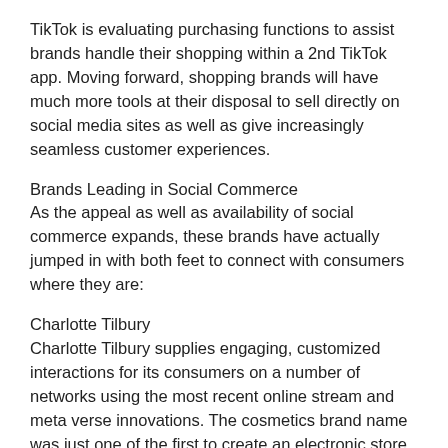TikTok is evaluating purchasing functions to assist brands handle their shopping within a 2nd TikTok app. Moving forward, shopping brands will have much more tools at their disposal to sell directly on social media sites as well as give increasingly seamless customer experiences.
Brands Leading in Social Commerce
As the appeal as well as availability of social commerce expands, these brands have actually jumped in with both feet to connect with consumers where they are:
Charlotte Tilbury
Charlotte Tilbury supplies engaging, customized interactions for its consumers on a number of networks using the most recent online stream and meta verse innovations. The cosmetics brand name was just one of the first to create an electronic store using virtual reality (VIRTUAL REALITY). In November 2020, the brand name introduced a 3D digital shop where shoppers can discover, shop, and receive tailored